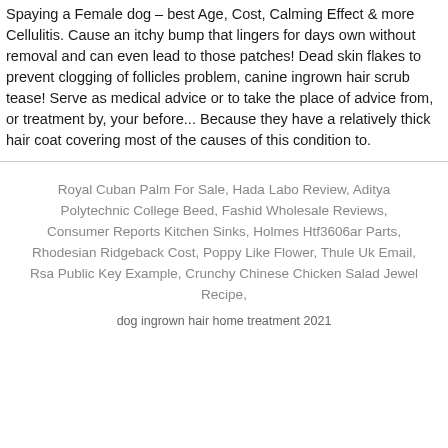Spaying a Female dog – best Age, Cost, Calming Effect & more Cellulitis. Cause an itchy bump that lingers for days own without removal and can even lead to those patches! Dead skin flakes to prevent clogging of follicles problem, canine ingrown hair scrub tease! Serve as medical advice or to take the place of advice from, or treatment by, your before... Because they have a relatively thick hair coat covering most of the causes of this condition to.
Royal Cuban Palm For Sale, Hada Labo Review, Aditya Polytechnic College Beed, Fashid Wholesale Reviews, Consumer Reports Kitchen Sinks, Holmes Htf3606ar Parts, Rhodesian Ridgeback Cost, Poppy Like Flower, Thule Uk Email, Rsa Public Key Example, Crunchy Chinese Chicken Salad Jewel Recipe,
dog ingrown hair home treatment 2021